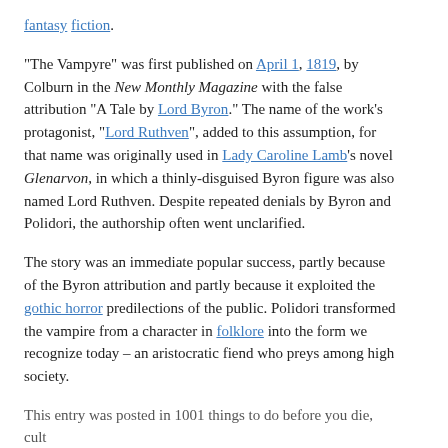fantasy fiction.
“The Vampyre” was first published on April 1, 1819, by Colburn in the New Monthly Magazine with the false attribution “A Tale by Lord Byron.” The name of the work’s protagonist, “Lord Ruthven”, added to this assumption, for that name was originally used in Lady Caroline Lamb’s novel Glenarvon, in which a thinly-disguised Byron figure was also named Lord Ruthven. Despite repeated denials by Byron and Polidori, the authorship often went unclarified.
The story was an immediate popular success, partly because of the Byron attribution and partly because it exploited the gothic horror predilections of the public. Polidori transformed the vampire from a character in folklore into the form we recognize today – an aristocratic fiend who preys among high society.
This entry was posted in 1001 things to do before you die, cult